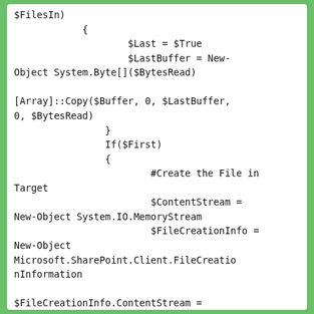$FilesIn)
            {
                    $Last = $True
                    $LastBuffer = New-Object System.Byte[]($BytesRead)

[Array]::Copy($Buffer, 0, $LastBuffer, 0, $BytesRead)
                }
                If($First)
                {
                        #Create the File in Target
                        $ContentStream = New-Object System.IO.MemoryStream
                        $FileCreationInfo = New-Object Microsoft.SharePoint.Client.FileCreationInformation

$FileCreationInfo.ContentStream = $ContentStream

$FileCreationInfo.Url = $FileName